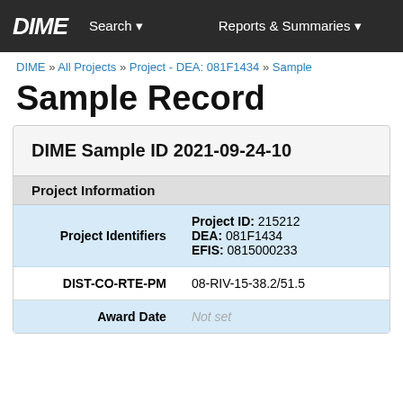DIME   Search ▾   Reports & Summaries ▾
DIME » All Projects » Project - DEA: 081F1434 » Sample
Sample Record
DIME Sample ID 2021-09-24-10
Project Information
| Field | Value |
| --- | --- |
| Project Identifiers | Project ID: 215212
DEA: 081F1434
EFIS: 0815000233 |
| DIST-CO-RTE-PM | 08-RIV-15-38.2/51.5 |
| Award Date | Not set |